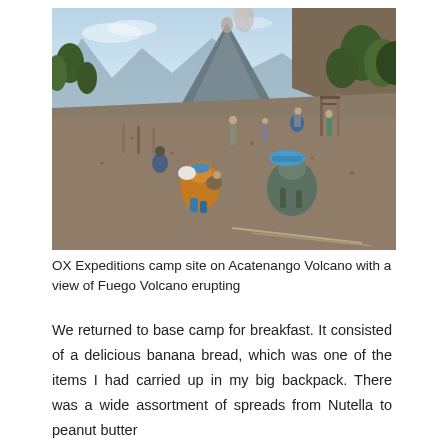[Figure (photo): Hikers and backpacks resting on volcanic scree at OX Expeditions camp site on Acatenango Volcano, with Fuego Volcano erupting in the background under a partly cloudy sky.]
OX Expeditions camp site on Acatenango Volcano with a view of Fuego Volcano erupting
We returned to base camp for breakfast. It consisted of a delicious banana bread, which was one of the items I had carried up in my big backpack. There was a wide assortment of spreads from Nutella to peanut butter